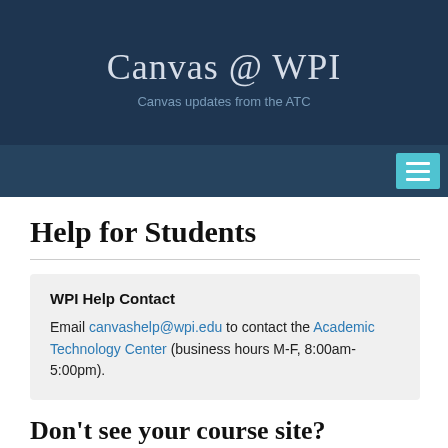Canvas @ WPI
Canvas updates from the ATC
[Figure (other): Navigation menu button (hamburger icon) on dark blue nav bar]
Help for Students
WPI Help Contact

Email canvashelp@wpi.edu to contact the Academic Technology Center (business hours M-F, 8:00am-5:00pm).
Don’t see your course site?
You should have access to a Canvas course site for a particular